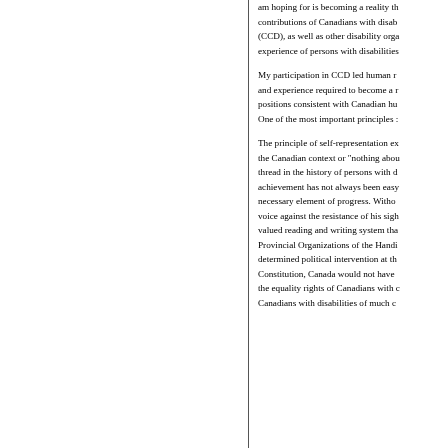am hoping for is becoming a reality through the contributions of Canadians with disabilities (CCD), as well as other disability organizations, and the lived experience of persons with disabilities.
My participation in CCD led human rights work and experience required to become a member, taking positions consistent with Canadian human rights law. One of the most important principles ...
The principle of self-representation expressed in the Canadian context or "nothing about us without us" thread in the history of persons with disabilities. Its achievement has not always been easy, but it is a necessary element of progress. Without Louis Braille's voice against the resistance of his sighted teachers, a valued reading and writing system that... Provincial Organizations of the Handicapped and their determined political intervention at the time of the Constitution, Canada would not have Section 15, protecting the equality rights of Canadians with disabilities. Canadians with disabilities of much...